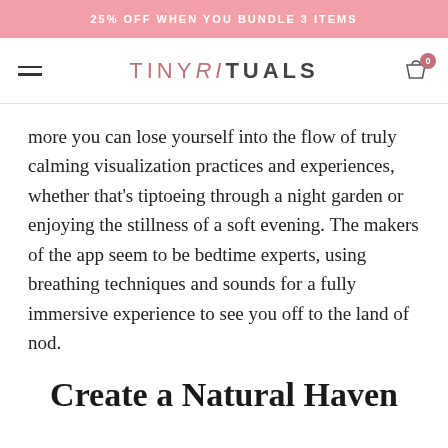25% OFF WHEN YOU BUNDLE 3 ITEMS
TINYRiTUALS
more you can lose yourself into the flow of truly calming visualization practices and experiences, whether that's tiptoeing through a night garden or enjoying the stillness of a soft evening. The makers of the app seem to be bedtime experts, using breathing techniques and sounds for a fully immersive experience to see you off to the land of nod.
Create a Natural Haven